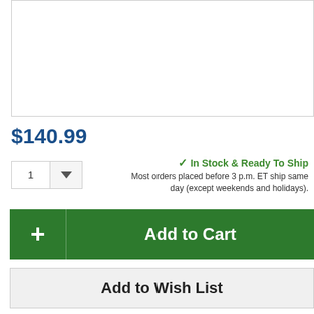[Figure (other): Product image placeholder (white box with border)]
$140.99
1 ▼  ✓ In Stock & Ready To Ship
Most orders placed before 3 p.m. ET ship same day (except weekends and holidays).
+ Add to Cart
Add to Wish List